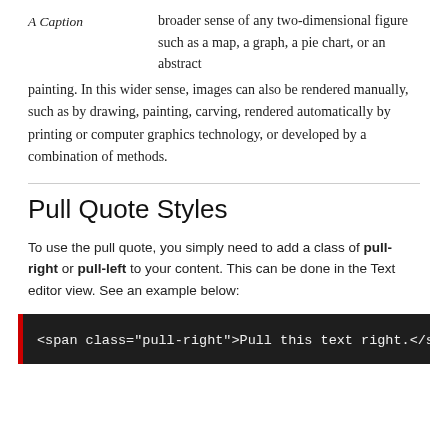A Caption
broader sense of any two-dimensional figure such as a map, a graph, a pie chart, or an abstract painting. In this wider sense, images can also be rendered manually, such as by drawing, painting, carving, rendered automatically by printing or computer graphics technology, or developed by a combination of methods.
Pull Quote Styles
To use the pull quote, you simply need to add a class of pull-right or pull-left to your content. This can be done in the Text editor view. See an example below:
[Figure (screenshot): Dark code block with red left border showing HTML code: <span class="pull-right">Pull this text right.</s]